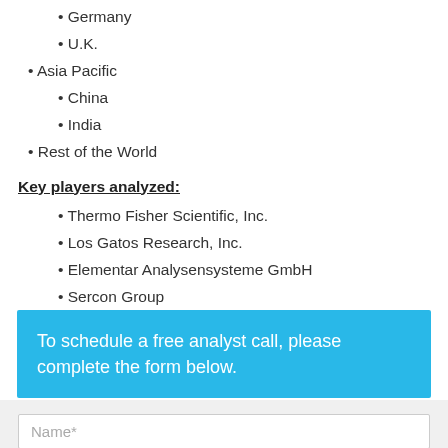• Germany
• U.K.
• Asia Pacific
• China
• India
• Rest of the World
Key players analyzed:
• Thermo Fisher Scientific, Inc.
• Los Gatos Research, Inc.
• Elementar Analysensysteme GmbH
• Sercon Group
• CAMECA SAS
To schedule a free analyst call, please complete the form below.
Name*